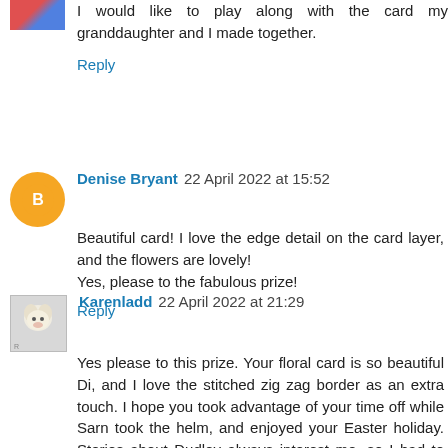I would like to play along with the card my granddaughter and I made together.
Reply
Denise Bryant 22 April 2022 at 15:52
Beautiful card! I love the edge detail on the card layer, and the flowers are lovely!
Yes, please to the fabulous prize!
Reply
Karenladd 22 April 2022 at 21:29
Yes please to this prize. Your floral card is so beautiful Di, and I love the stitched zig zag border as an extra touch. I hope you took advantage of your time off while Sarn took the helm, and enjoyed your Easter holiday. Stories about Dudley always interest me, so I had to hop on over to your blog to find out more about your card and to see what he was up to as well. Dudley's puzzlement as he tried to fit through your craft room door with Honka Duck in his mouth